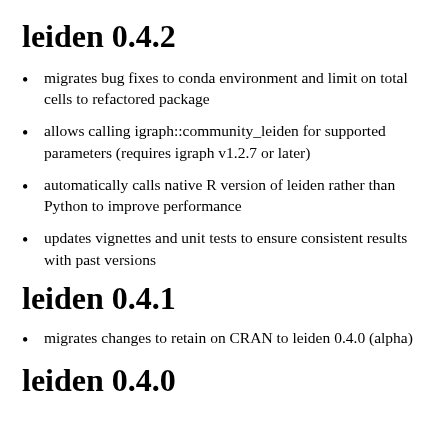leiden 0.4.2
migrates bug fixes to conda environment and limit on total cells to refactored package
allows calling igraph::community_leiden for supported parameters (requires igraph v1.2.7 or later)
automatically calls native R version of leiden rather than Python to improve performance
updates vignettes and unit tests to ensure consistent results with past versions
leiden 0.4.1
migrates changes to retain on CRAN to leiden 0.4.0 (alpha)
leiden 0.4.0